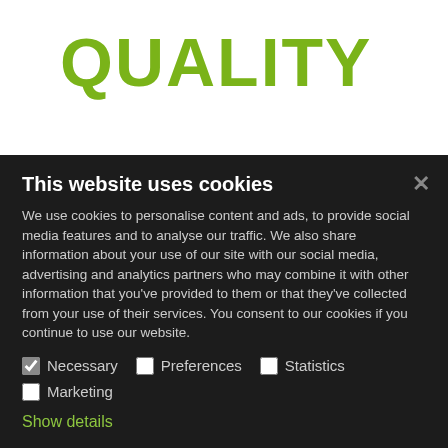QUALITY
We think quality simply tastes better. That's why we only use fresh, quality ingredients and avoid
This website uses cookies
We use cookies to personalise content and ads, to provide social media features and to analyse our traffic. We also share information about your use of our site with our social media, advertising and analytics partners who may combine it with other information that you've provided to them or that they've collected from your use of their services. You consent to our cookies if you continue to use our website.
Necessary  Preferences  Statistics  Marketing
Show details
Allow selection   Allow all cookies